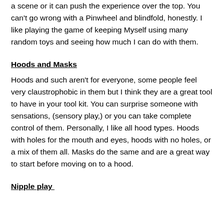a scene or it can push the experience over the top. You can't go wrong with a Pinwheel and blindfold, honestly. I like playing the game of keeping Myself using many random toys and seeing how much I can do with them.
Hoods and Masks
Hoods and such aren't for everyone, some people feel very claustrophobic in them but I think they are a great tool to have in your tool kit. You can surprise someone with sensations, (sensory play,) or you can take complete control of them. Personally, I like all hood types. Hoods with holes for the mouth and eyes, hoods with no holes, or a mix of them all. Masks do the same and are a great way to start before moving on to a hood.
Nipple play